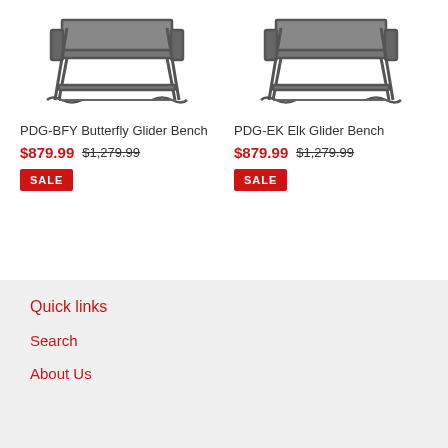[Figure (photo): Product photo of PDG-BFY Butterfly Glider Bench - dark metal outdoor glider bench]
[Figure (photo): Product photo of PDG-EK Elk Glider Bench - dark metal outdoor glider bench]
PDG-BFY Butterfly Glider Bench
$879.99  $1,279.99
SALE
PDG-EK Elk Glider Bench
$879.99  $1,279.99
SALE
Quick links
Search
About Us